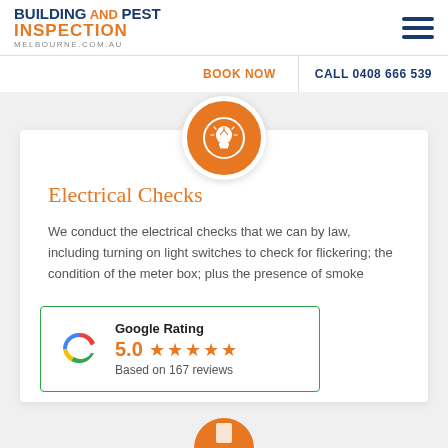[Figure (logo): Building and Pest Inspection Melbourne.com.au logo]
[Figure (infographic): Hamburger menu icon (three horizontal dark blue lines)]
BOOK NOW
CALL 0408 666 539
[Figure (illustration): Orange circle with white lightbulb icon inside]
Electrical Checks
We conduct the electrical checks that we can by law, including turning on light switches to check for flickering; the condition of the meter box; plus the presence of smoke
[Figure (infographic): Google Rating badge showing 5.0 stars based on 167 reviews]
[Figure (illustration): Partial orange circle icon at the bottom of the page]